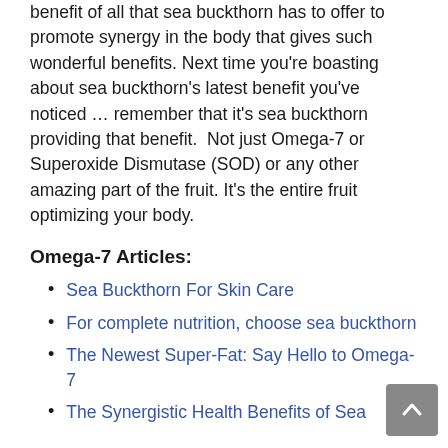benefit of all that sea buckthorn has to offer to promote synergy in the body that gives such wonderful benefits. Next time you're boasting about sea buckthorn's latest benefit you've noticed … remember that it's sea buckthorn providing that benefit.  Not just Omega-7 or Superoxide Dismutase (SOD) or any other amazing part of the fruit. It's the entire fruit optimizing your body.
Omega-7 Articles:
Sea Buckthorn For Skin Care
For complete nutrition, choose sea buckthorn
The Newest Super-Fat: Say Hello to Omega-7
The Synergistic Health Benefits of Sea